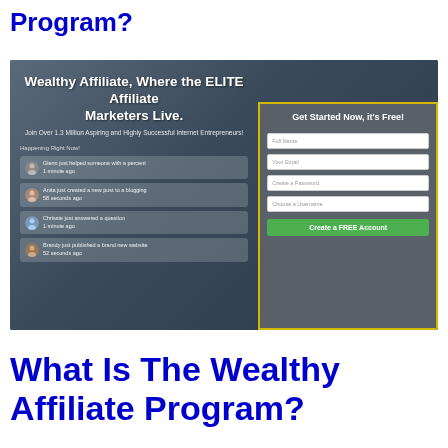Program?
[Figure (screenshot): Wealthy Affiliate website screenshot showing the homepage with headline 'Wealthy Affiliate, Where the ELITE Affiliate Marketers Live.' and a signup form with fields for Full Name, Your Email, Create a Password, Choose a Username, and a green Create a FREE Account button. The left side shows activity feed cards with user avatars.]
What Is The Wealthy Affiliate Program?